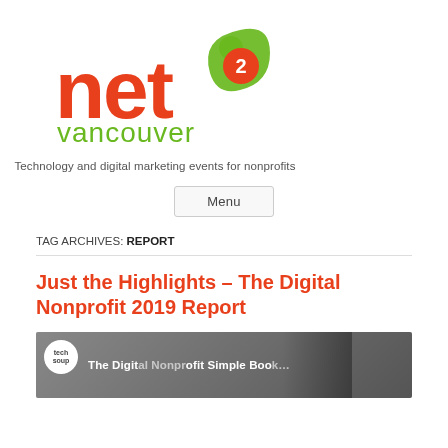[Figure (logo): Net2 Vancouver logo with orange 'net' text, green figure/2 icon, and 'vancouver' text in green below]
Technology and digital marketing events for nonprofits
Menu
TAG ARCHIVES: REPORT
Just the Highlights – The Digital Nonprofit 2019 Report
[Figure (photo): Thumbnail image for the Digital Nonprofit article showing techsoup logo and partial text 'The Digital Nonprofit Simple Book']